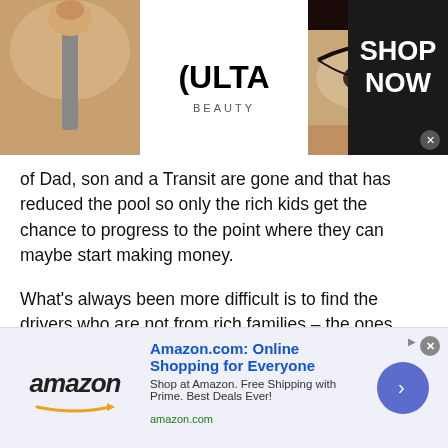[Figure (other): Ulta Beauty advertisement banner showing makeup photos (red lips, makeup brush, eye with dark eyeshadow, Ulta logo, another eye photo) with 'SHOP NOW' call to action on dark background]
of Dad, son and a Transit are gone and that has reduced the pool so only the rich kids get the chance to progress to the point where they can maybe start making money.
What's always been more difficult is to find the drivers who are not from rich families – the ones who aren't millionaires at least. And that too has always been the case.
Don't hold it against these two. Look at their racing and then decide if you think they're any good or just cash cows.
[Figure (other): Amazon.com advertisement banner showing Amazon logo with orange arrow, headline 'Amazon.com: Online Shopping for Everyone', subtext 'Shop at Amazon. Free Shipping with Prime. Best Deals Ever!', amazon.com URL, and a blue circular button with right arrow]